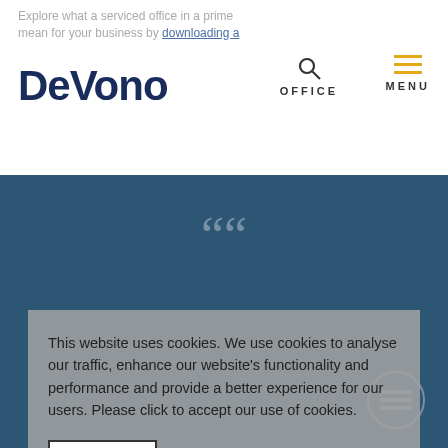Explore what a serviced office in a prime mean for your business by downloading a
DeVono
[Figure (screenshot): Navigation bar with OFFICE search icon and MENU hamburger icon with gold lines]
[Figure (screenshot): Large decorative quotation marks on blue/teal background]
"I have worked with DeVono for many years. I value their approach – always looking at the big picture, not just the detail, they understand our business challenges and… the complexity of our organisation's structure and… I'm always very happy to work… team and value their support."
This website uses cookies. We use cookies to analyse our traffic, enhance our website's functionality and performance and provide a better experience for our users. Please click to accept our use of cookies.